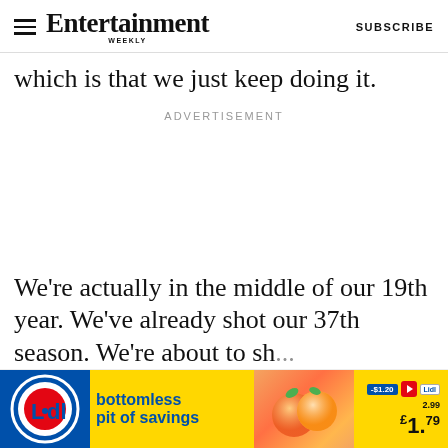Entertainment Weekly — SUBSCRIBE
which is that we just keep doing it.
ADVERTISEMENT
We're actually in the middle of our 19th year. We've already shot our 37th season. We're about to sh... just keep...
[Figure (other): Lidl advertisement banner: 'bottomless pit of savings' with peaches image and price €1.79]